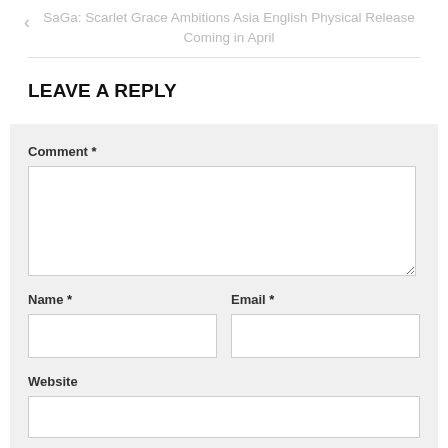< SaGa: Scarlet Grace Ambitions Asia English Physical Release Coming in April
LEAVE A REPLY
Comment *
Name *
Email *
Website